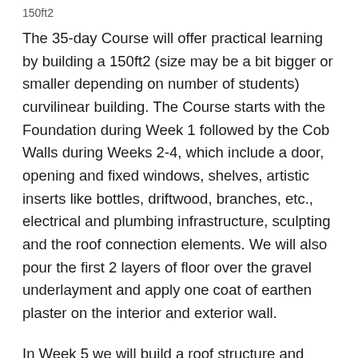150ft2
The 35-day Course will offer practical learning by building a 150ft2 (size may be a bit bigger or smaller depending on number of students) curvilinear building. The Course starts with the Foundation during Week 1 followed by the Cob Walls during Weeks 2-4, which include a door, opening and fixed windows, shelves, artistic inserts like bottles, driftwood, branches, etc., electrical and plumbing infrastructure, sculpting and the roof connection elements. We will also pour the first 2 layers of floor over the gravel underlayment and apply one coat of earthen plaster on the interior and exterior wall.
In Week 5 we will build a roof structure and cover it with wood and a green roof.  We will aim to complete the roof during Week 5 but it